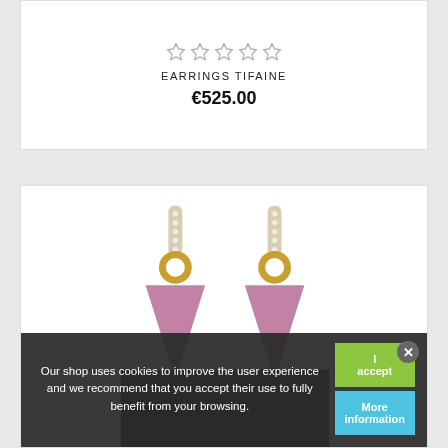[Figure (other): Five empty star rating icons in a row]
EARRINGS TIFAINE
€525.00
[Figure (photo): Photo of two drop earrings with diamond-set bars at top, gold connector rings, and large triangular pink/amethyst gemstone drops, partially shown]
Our shop uses cookies to improve the user experience and we recommend that you accept their use to fully benefit from your browsing.
I accept
More information